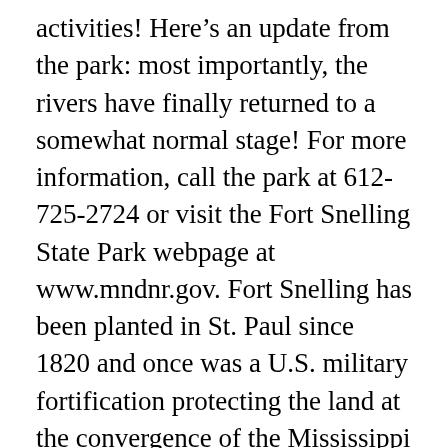activities! Here's an update from the park: most importantly, the rivers have finally returned to a somewhat normal stage! For more information, call the park at 612-725-2724 or visit the Fort Snelling State Park webpage at www.mndnr.gov. Fort Snelling has been planted in St. Paul since 1820 and once was a U.S. military fortification protecting the land at the convergence of the Mississippi and Minnesota rivers, and beyond. THE CHAPEL REOPENED ON SUNDAY, JULY 5, 2020. Outdoors experts and enthusiasts will be on hand to promote winter fun during Winter Trails Day at Fort Snelling State Park on Saturday, Jan. 12, from 11 a.m. to 4 p.m. Park visitors will have an opportunity to try a variety of winter activities